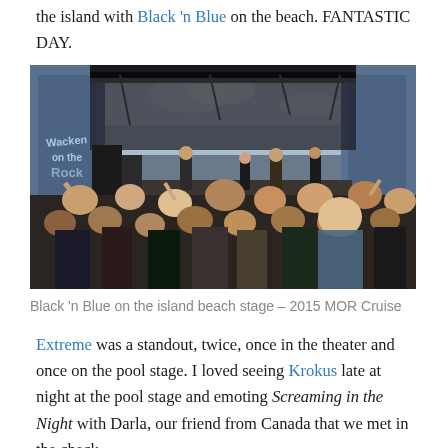the island with Black 'n Blue on the beach. FANTASTIC DAY.
[Figure (photo): Black 'n Blue performing on an outdoor beach stage at the 2015 MOR Cruise, with a large crowd in the foreground and banners on either side of the stage.]
Black 'n Blue on the island beach stage – 2015 MOR Cruise
Extreme was a standout, twice, once in the theater and once on the pool stage. I loved seeing Krokus late at night at the pool stage and emoting Screaming in the Night with Darla, our friend from Canada that we met in the check-